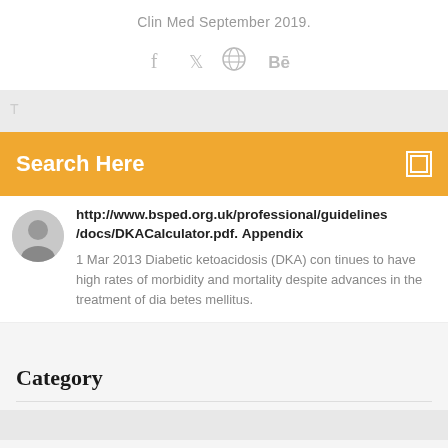Clin Med September 2019.
[Figure (other): Social media icons: Facebook, Twitter, Dribbble, Behance]
http://www.bsped.org.uk/professional/guidelines/docs/DKACalculator.pdf. Appendix
1 Mar 2013 Diabetic ketoacidosis (DKA) con tinues to have high rates of morbidity and mortality despite advances in the treatment of dia betes mellitus.
Category